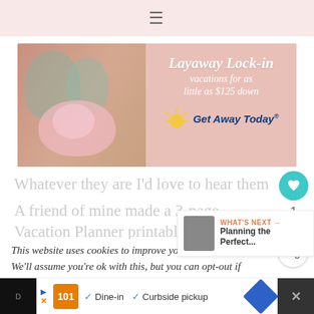≡
[Figure (infographic): Get Away Today advertisement banner showing a mother and child with a piggy bank, text reads 'Layaway Lock-in vacations for as little as $125 down' with Get Away Today logo and sun graphic]
Whatever they are I'd love to hear them
A friend of mine made a 3-page
Vacation Planner printable to sh...
This website uses cookies to improve you... We'll assume you're ok with this, but you can opt-out if
WHAT'S NEXT → Planning the Perfect...
✓ Dine-in  ✓ Curbside pickup